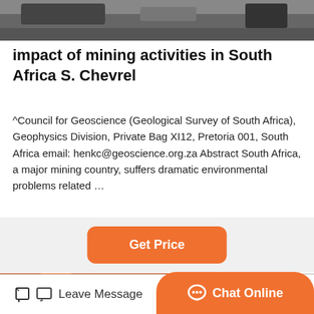[Figure (photo): Top portion of mining equipment machinery, dark industrial setting]
impact of mining activities in South Africa S. Chevrel
^Council for Geoscience (Geological Survey of South Africa), Geophysics Division, Private Bag XI12, Pretoria 001, South Africa email: henkc@geoscience.org.za Abstract South Africa, a major mining country, suffers dramatic environmental problems related …
[Figure (photo): Industrial mining machinery with large orange cylindrical drum and gear wheels]
Leave Message   Chat Online